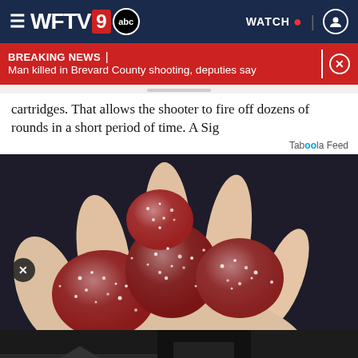WFTV 9 abc | WATCH
BREAKING NEWS | Man killed in Brevard County shooting, deputies say
cartridges. That allows the shooter to fire off dozens of rounds in a short period of time. A Sig
Taboola Feed
[Figure (photo): Hand holding multiple red sugar-coated gummy candies against a dark background]
Bann... iever